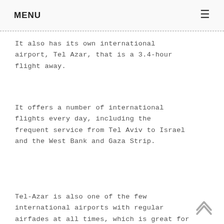MENU
It also has its own international airport, Tel Azar, that is a 3.4-hour flight away.
It offers a number of international flights every day, including the frequent service from Tel Aviv to Israel and the West Bank and Gaza Strip.
Tel-Azar is also one of the few international airports with regular airfades at all times, which is great for those travelers who want a smooth